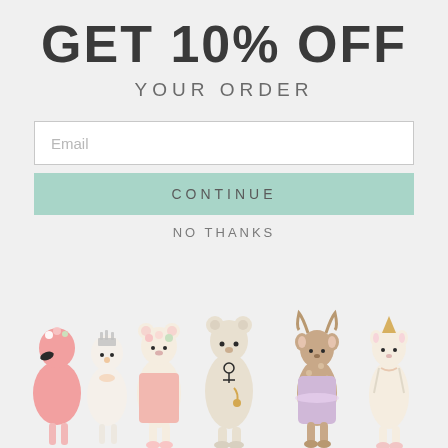GET 10% OFF
YOUR ORDER
Email
CONTINUE
NO THANKS
[Figure (photo): Six knitted stuffed animal dolls lined up: a pink flamingo with flower crown, a white bird with silver crown, a cream bear with pink flowers, a cream textured bear with anchor, a brown deer with spots and lavender dress, and a cream unicorn with gold horn. All have soft pastel tones against a light gray background.]